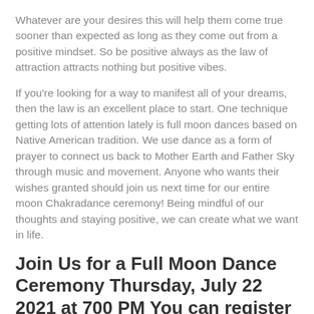Whatever are your desires this will help them come true sooner than expected as long as they come out from a positive mindset. So be positive always as the law of attraction attracts nothing but positive vibes.
If you're looking for a way to manifest all of your dreams, then the law is an excellent place to start. One technique getting lots of attention lately is full moon dances based on Native American tradition. We use dance as a form of prayer to connect us back to Mother Earth and Father Sky through music and movement. Anyone who wants their wishes granted should join us next time for our entire moon Chakradance ceremony! Being mindful of our thoughts and staying positive, we can create what we want in life.
Join Us for a Full Moon Dance Ceremony Thursday, July 22 2021 at 700 PM You can register here